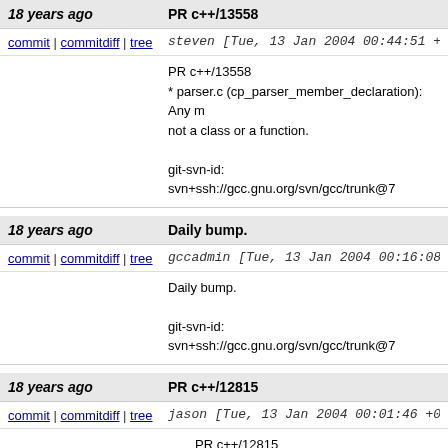18 years ago | PR c++/13558
commit | commitdiff | tree   steven [Tue, 13 Jan 2004 00:44:51 +0000
PR c++/13558
* parser.c (cp_parser_member_declaration): Any m not a class or a function.

git-svn-id: svn+ssh://gcc.gnu.org/svn/gcc/trunk@7
18 years ago | Daily bump.
commit | commitdiff | tree   gccadmin [Tue, 13 Jan 2004 00:16:08 +000
Daily bump.

git-svn-id: svn+ssh://gcc.gnu.org/svn/gcc/trunk@7
18 years ago | PR c++/12815
commit | commitdiff | tree   jason [Tue, 13 Jan 2004 00:01:46 +0000 (
PR c++/12815
  * class.c (build_base_path): Do not mark vtab TREE_CONSTANT.
  (build_vtbl_ref_1): Likewise.